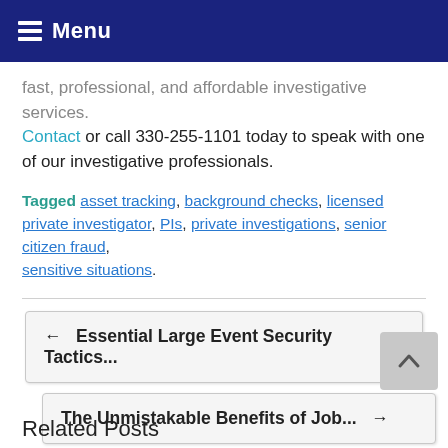Menu
fast, professional, and affordable investigative services. Contact or call 330-255-1101 today to speak with one of our investigative professionals.
Tagged asset tracking, background checks, licensed private investigator, PIs, private investigations, senior citizen fraud, sensitive situations.
← Essential Large Event Security Tactics...
The Unmistakable Benefits of Job... →
Related Posts